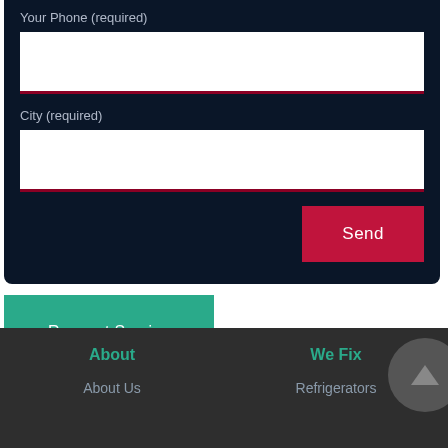Your Phone (required)
City (required)
Send
Request Service
About
We Fix
About Us
Refrigerators